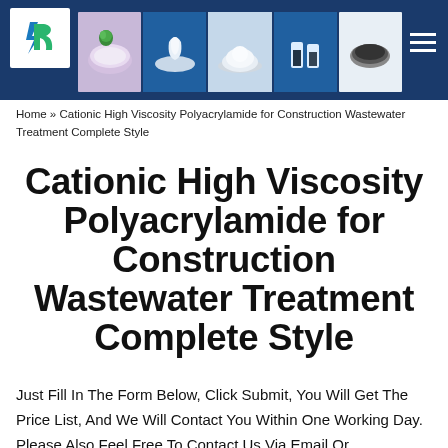YR logo and navigation
[Figure (photo): Header banner with five product photos of white powder chemicals on blue background]
Home » Cationic High Viscosity Polyacrylamide for Construction Wastewater Treatment Complete Style
Cationic High Viscosity Polyacrylamide for Construction Wastewater Treatment Complete Style
Just Fill In The Form Below, Click Submit, You Will Get The Price List, And We Will Contact You Within One Working Day. Please Also Feel Free To Contact Us Via Email Or